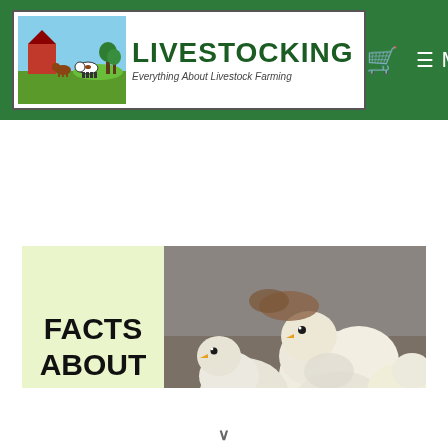LIVESTOCKING — Everything About Livestock Farming
[Figure (photo): Banner image showing white baby chicks/ducklings being handled, with text 'FACTS ABOUT' on a light green background on the left side]